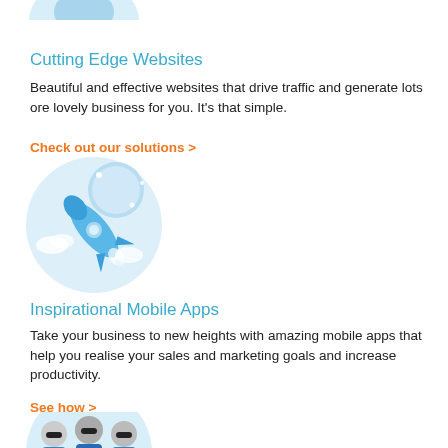[Figure (illustration): Partial illustration of a rocket ship at top of page, partially cropped]
Cutting Edge Websites
Beautiful and effective websites that drive traffic and generate lots ore lovely business for you. It's that simple.
Check out our solutions >
[Figure (illustration): Blue rocket ship flying past a moon/planet with sparkles, on a light blue circular background]
Inspirational Mobile Apps
Take your business to new heights with amazing mobile apps that help you realise your sales and marketing goals and increase productivity.
See how >
[Figure (illustration): Three cartoon business figures wearing sunglasses, dressed in blue suits, on a light blue circular background]